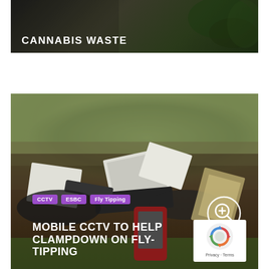[Figure (photo): Dark background photo with text overlay reading CANNABIS WASTE in white uppercase letters]
[Figure (photo): Photo of fly-tipped waste including white boxes, electronics, and a red phone dumped in a field. Overlay tags: CCTV, ESBC, Fly Tipping. Headline: MOBILE CCTV TO HELP CLAMPDOWN ON FLY-TIPPING. Zoom icon in top right corner. Privacy/reCAPTCHA badge in bottom right.]